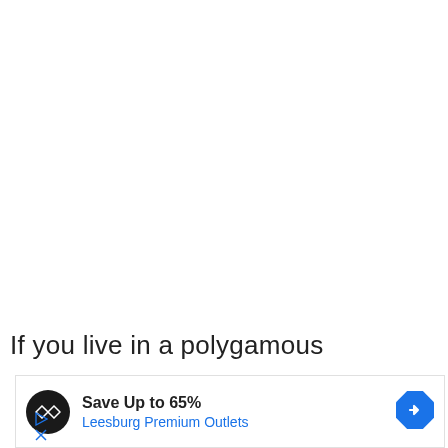If you live in a polygamous
[Figure (infographic): Advertisement banner: circular black logo with two overlapping diamond outlines icon, headline 'Save Up to 65%', subline 'Leesburg Premium Outlets' in blue, blue diamond-shaped navigation arrow icon on right, with play and close icons on bottom left.]